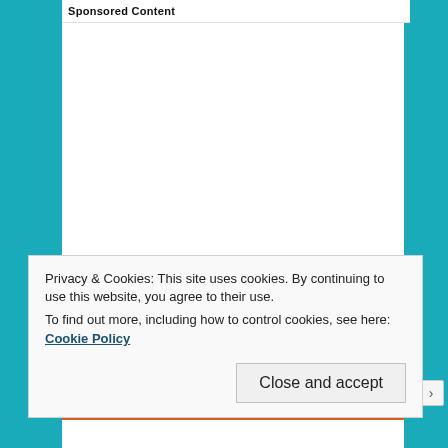Sponsored Content
Find Out More Personalized Business Content Here
Privacy & Cookies: This site uses cookies. By continuing to use this website, you agree to their use.
To find out more, including how to control cookies, see here: Cookie Policy
Close and accept